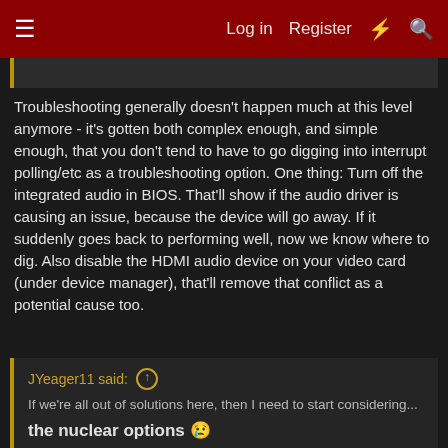Log in  Register  [lightning] [search]
Troubleshooting generally doesn't happen much at this level anymore - it's gotten both complex enough, and simple enough, that you don't tend to have to go digging into interrupt polling/etc as a troubleshooting option. One thing: Turn off the integrated audio in BIOS. That'll show if the audio driver is causing an issue, because the device will go away. If it suddenly goes back to performing well, now we know where to dig. Also disable the HDMI audio device on your video card (under device manager), that'll remove that conflict as a potential cause too.
JYeager11 said: ↑
If we're all out of solutions here, then I need to start considering...
the nuclear options 😟

* * *

Would this be possible? -> Getting another NVMe 1TB drive tomorrow, placing it on the motherboard alongside the current one